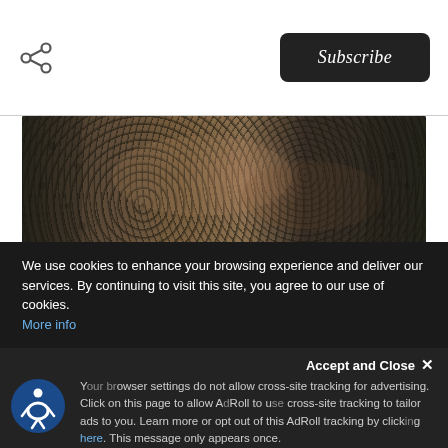Subscribe
[Figure (photo): Close-up photo of hands sorting or handling dark-colored coffee beans or seeds on a textured surface, dark earthy tones]
The Bottom Line
There's no doubt that you won't ever forget the memories
We use cookies to enhance your browsing experience and deliver our services. By continuing to visit this site, you agree to our use of cookies. More info
Accept and Close ✕
Your browser settings do not allow cross-site tracking for advertising. Click on this page to allow AdRoll to use cross-site tracking to tailor ads to you. Learn more or opt out of this AdRoll tracking by clicking here. This message only appears once.